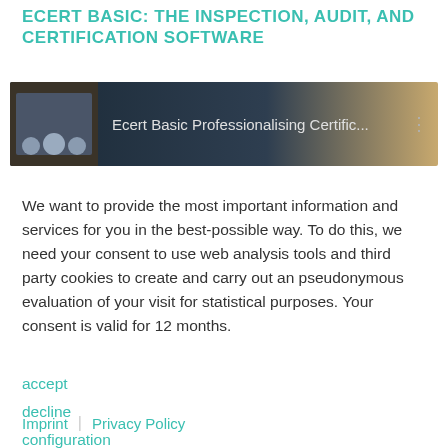ECERT BASIC: THE INSPECTION, AUDIT, AND CERTIFICATION SOFTWARE
[Figure (screenshot): Video thumbnail showing three people with text 'Ecert Basic Professionalising Certific...' on a dark background with a menu icon]
We want to provide the most important information and services for you in the best-possible way. To do this, we need your consent to use web analysis tools and third party cookies to create and carry out an pseudonymous evaluation of your visit for statistical purposes. Your consent is valid for 12 months.
accept
decline
configuration
Imprint | Privacy Policy